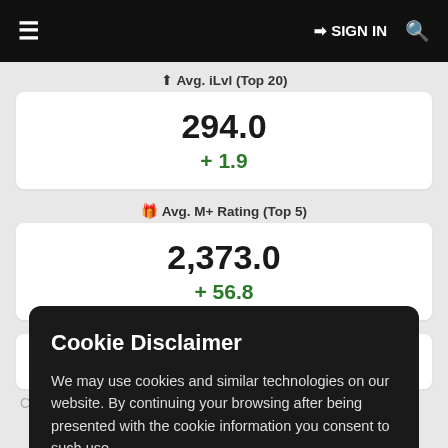≡  → SIGN IN  🔍
⬆ Avg. iLvl (Top 20)
294.0
+ 1.9
🏅 Avg. M+ Rating (Top 5)
2,373.0
+ 56.8
Cas
Cookie Disclaimer
We may use cookies and similar technologies on our website. By continuing your browsing after being presented with the cookie information you consent to such use.
👍 OK
📋 Visit privacy page